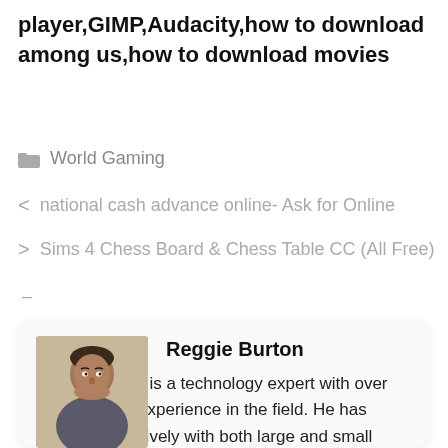player,GIMP,Audacity,how to download among us,how to download movies
World Gaming
< national cash advance online- Ask for Online
> Sims 4 Chess Board & Chess Table CC (All Free)
–
Reggie Burton
Reggie Burton is a technology expert with over nine years of experience in the field. He has worked extensively with both large and small businesses to help them optimize their tech infrastructure and improve their overall efficiency. Reggie is known for
[Figure (photo): Headshot photo of Reggie Burton, a middle-aged man]